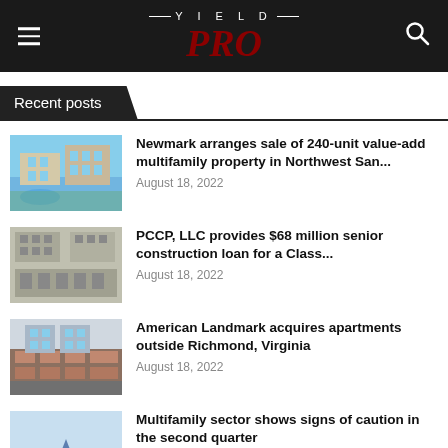YIELD PRO
Recent posts
Newmark arranges sale of 240-unit value-add multifamily property in Northwest San...
August 18, 2022
PCCP, LLC provides $68 million senior construction loan for a Class...
August 18, 2022
American Landmark acquires apartments outside Richmond, Virginia
August 18, 2022
Multifamily sector shows signs of caution in the second quarter